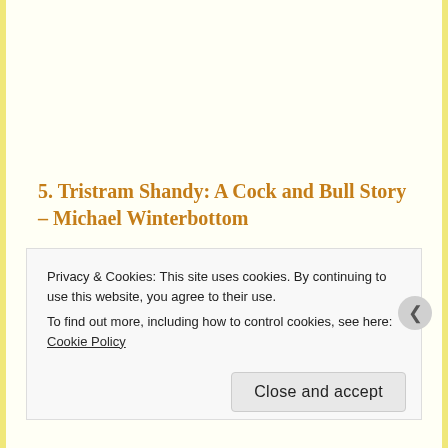5. Tristram Shandy: A Cock and Bull Story – Michael Winterbottom
Not quite as flat-out enjoyable as the director's earlier 24 Hour Party People, this was still one of the funniest movies of the year. More than that, though, it was one of the better films about films, a look at how absurd film sets really are. It is
Privacy & Cookies: This site uses cookies. By continuing to use this website, you agree to their use.
To find out more, including how to control cookies, see here: Cookie Policy